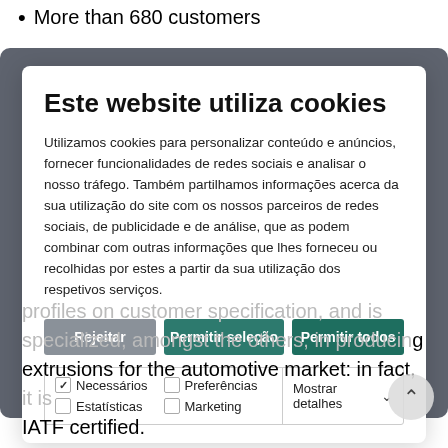More than 680 customers
Este website utiliza cookies
Utilizamos cookies para personalizar conteúdo e anúncios, fornecer funcionalidades de redes sociais e analisar o nosso tráfego. Também partilhamos informações acerca da sua utilização do site com os nossos parceiros de redes sociais, de publicidade e de análise, que as podem combinar com outras informações que lhes forneceu ou recolhidas por estes a partir da sua utilização dos respetivos serviços.
Rejeitar | Permitir seleção | Permitir todos
Necessários  Preferências  Estatísticas  Marketing  Mostrar detalhes
profiles on customer specification, and is specialized, amongst the others, in producing extrusions for the automotive market: in fact, it is IATF certified.